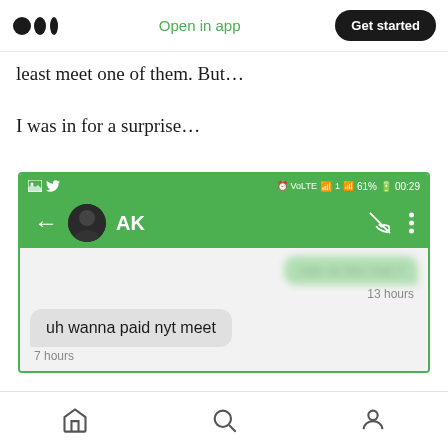[Figure (screenshot): Medium app navigation bar with logo, 'Open in app' green link, and 'Get started' dark rounded button]
least meet one of them. But...
I was in for a surprise...
[Figure (screenshot): WhatsApp-style messaging app screenshot showing green header with contact 'AK', a blurred sent message, '13 hours' timestamp, received message 'uh wanna paid nyt meet', and '7 hours' timestamp]
[Figure (screenshot): Mobile bottom navigation bar with home, search, and profile icons]